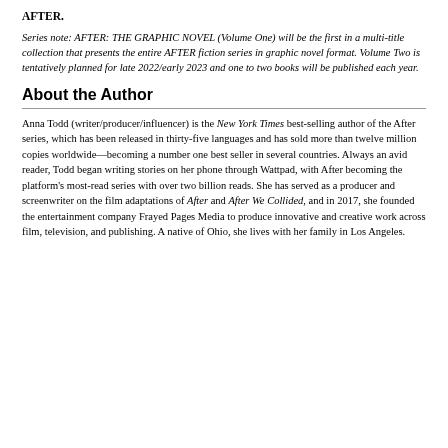AFTER.
Series note: AFTER: THE GRAPHIC NOVEL (Volume One) will be the first in a multi-title collection that presents the entire AFTER fiction series in graphic novel format. Volume Two is tentatively planned for late 2022/early 2023 and one to two books will be published each year.
About the Author
Anna Todd (writer/producer/influencer) is the New York Times best-selling author of the After series, which has been released in thirty-five languages and has sold more than twelve million copies worldwide—becoming a number one best seller in several countries. Always an avid reader, Todd began writing stories on her phone through Wattpad, with After becoming the platform's most-read series with over two billion reads. She has served as a producer and screenwriter on the film adaptations of After and After We Collided, and in 2017, she founded the entertainment company Frayed Pages Media to produce innovative and creative work across film, television, and publishing. A native of Ohio, she lives with her family in Los Angeles.